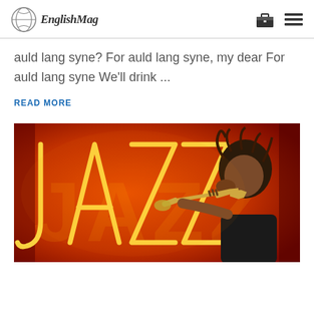EnglishMag
auld lang syne?  For auld lang syne, my dear  For auld lang syne We'll drink ...
READ MORE
[Figure (photo): A musician with dreadlocks playing a trumpet in front of a neon JAZZ sign with orange/red lighting]